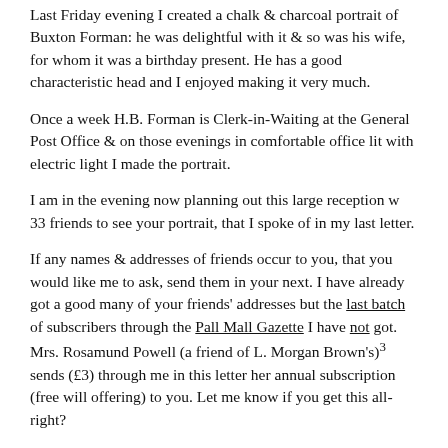Last Friday evening I created a chalk & charcoal portrait of Buxton Forman: he was delightful with it & so was his wife, for whom it was a birthday present. He has a good characteristic head and I enjoyed making it very much.
Once a week H.B. Forman is Clerk-in-Waiting at the General Post Office & on those evenings in comfortable office lit with electric light I made the portrait.
I am in the evening now planning out this large reception w 33 friends to see your portrait, that I spoke of in my last letter.
If any names & addresses of friends occur to you, that you would like me to ask, send them in your next. I have already got a good many of your friends' addresses but the last batch of subscribers through the Pall Mall Gazette I have not got. Mrs. Rosamund Powell (a friend of L. Morgan Brown's)3 sends (£3) through me in this letter her annual subscription (free will offering) to you. Let me know if you get this all-right?